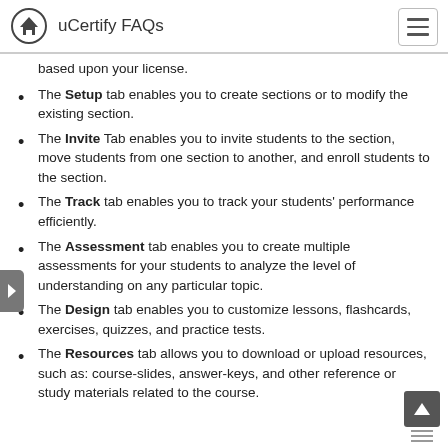uCertify FAQs
based upon your license.
The Setup tab enables you to create sections or to modify the existing section.
The Invite Tab enables you to invite students to the section, move students from one section to another, and enroll students to the section.
The Track tab enables you to track your students' performance efficiently.
The Assessment tab enables you to create multiple assessments for your students to analyze the level of understanding on any particular topic.
The Design tab enables you to customize lessons, flashcards, exercises, quizzes, and practice tests.
The Resources tab allows you to download or upload resources, such as: course-slides, answer-keys, and other reference or study materials related to the course.